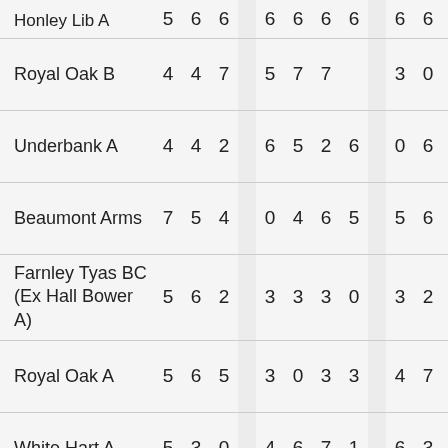| Team |  |  |  |  |  |  |  |  |  |  |  |  |
| --- | --- | --- | --- | --- | --- | --- | --- | --- | --- | --- | --- | --- |
| Honley Lib A | 5 | 6 | 6 | 6 | 6 | 6 | 6 | 6 | 6 | 6 | 6 |
| Royal Oak B | 4 | 4 | 7 | 5 | 7 | 7 |  | 3 | 0 | 7 | 6 |
| Underbank A | 4 | 4 | 2 | 6 | 5 | 2 | 6 | 0 | 6 | 5 | 4 |
| Beaumont Arms | 7 | 5 | 4 | 0 | 4 | 6 | 5 | 5 | 6 | 7 | 3 |
| Farnley Tyas BC (Ex Hall Bower A) | 5 | 6 | 2 | 3 | 3 | 3 | 0 | 3 | 2 | 6 | 3 |
| Royal Oak A | 5 | 6 | 5 | 3 | 0 | 3 | 3 | 4 | 7 | 2 | 3 |
| White Hart A | 5 | 3 | 0 | 4 | 6 | 7 | 1 | 6 | 3 | 4 | 6 |
| Honley Soc | 2 | 3 | 7 | 6 | 3 | 0 |  | 6 | 3 | 2 | 6 |